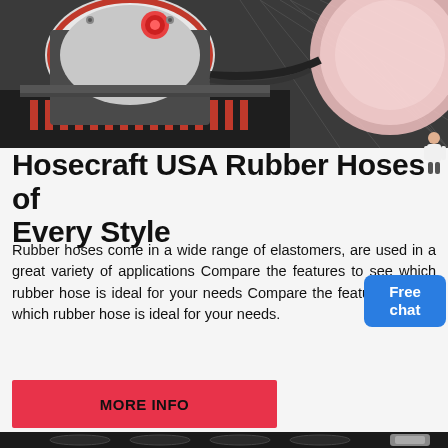[Figure (photo): Industrial machinery photo showing a large white cylindrical machine with red accents mounted on a metal structure inside a warehouse or industrial facility. A large pink/white circular component is visible on the right side.]
Hosecraft USA Rubber Hoses of Every Style
Rubber hoses come in a wide range of elastomers, are used in a great variety of applications Compare the features to see which rubber hose is ideal for your needs Compare the features to see which rubber hose is ideal for your needs.
[Figure (other): Red button labeled MORE INFO]
[Figure (photo): Close-up photo of black rubber hoses with metal fittings/connectors]